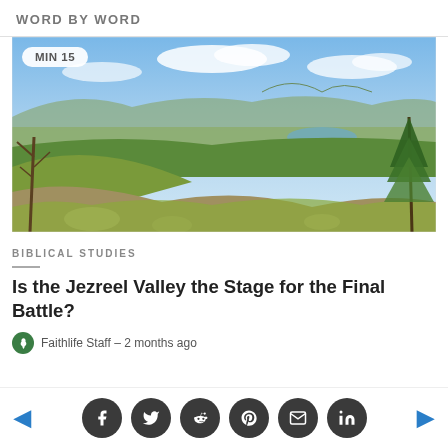WORD BY WORD
[Figure (photo): Panoramic landscape view of the Jezreel Valley from a hillside, showing green fields, a lake, mountains in the background, and trees in the foreground under a partly cloudy sky. A badge reading 'MIN 15' appears in the top-left corner.]
BIBLICAL STUDIES
Is the Jezreel Valley the Stage for the Final Battle?
Faithlife Staff – 2 months ago